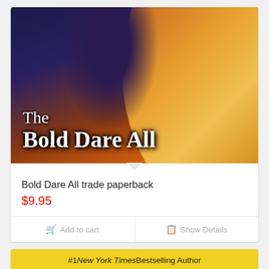[Figure (illustration): Book cover for 'The Bold Dare All' showing dramatic illustrated figures on dark blue and orange background with large white serif title text]
Bold Dare All trade paperback
$9.95
Add to cart
Show Details
[Figure (illustration): Book cover showing '#1 New York Times Bestselling Author' in yellow band and 'L. RON HUBBARD' text in large white letters on red background]